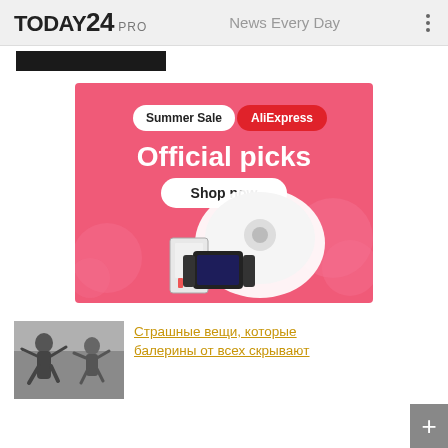TODAY24 PRO   News Every Day
[Figure (screenshot): Black redacted bar below header]
[Figure (illustration): AliExpress Summer Sale advertisement banner. Pink background with text 'Summer Sale AliExpress Official picks Shop now' and product images including a robot vacuum, Nintendo Switch OLED, and a gaming device.]
[Figure (photo): Black and white photo of ballerinas in a dance studio]
Страшные вещи, которые балерины от всех скрывают